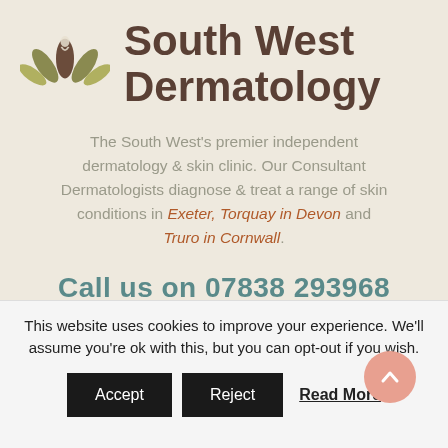[Figure (logo): South West Dermatology logo — stylized lotus/leaf motif in olive green and brown, with the text 'South West Dermatology' in dark brown bold sans-serif]
The South West's premier independent dermatology & skin clinic. Our Consultant Dermatologists diagnose & treat a range of skin conditions in Exeter, Torquay in Devon and Truro in Cornwall.
Call us on 07838 293968
Privacy Policy & Cookies
This website uses cookies to improve your experience. We'll assume you're ok with this, but you can opt-out if you wish.